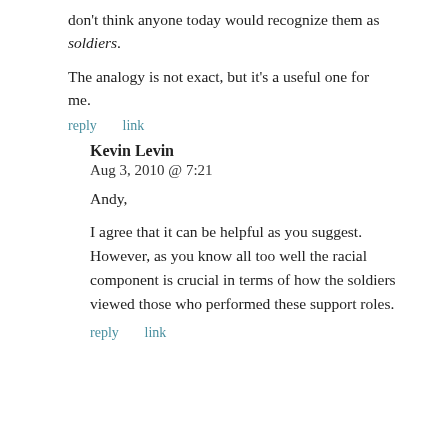don't think anyone today would recognize them as soldiers.
The analogy is not exact, but it's a useful one for me.
reply   link
Kevin Levin
Aug 3, 2010 @ 7:21
Andy,
I agree that it can be helpful as you suggest. However, as you know all too well the racial component is crucial in terms of how the soldiers viewed those who performed these support roles.
reply   link